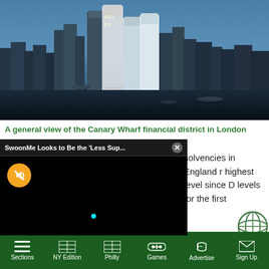[Figure (photo): Aerial view of the Canary Wharf financial district in London with skyscrapers and the River Thames in the foreground]
A general view of the Canary Wharf financial district in London
[Figure (screenshot): Ad popup overlay: SwoonMe Looks to Be the 'Less Sup...' video player with mute button and close button]
solvencies in England r highest level since D levels for the first time, government data showed on Friday.
Sections | NY Edition | Philly | Games | Advertise | Sign Up